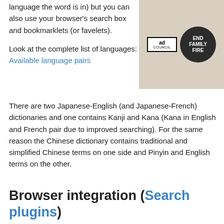language the word is in) but you can also use your browser's search box and bookmarklets (or favelets).
[Figure (other): Ad Council advertisement featuring 'END FAMILY FIRE' logo on dark circle background with 'ad council' text box]
Look at the complete list of languages: Available language pairs
There are two Japanese-English (and Japanese-French) dictionaries and one contains Kanji and Kana (Kana in English and French pair due to improved searching). For the same reason the Chinese dictionary contains traditional and simplified Chinese terms on one side and Pinyin and English terms on the other.
Browser integration (Search plugins)